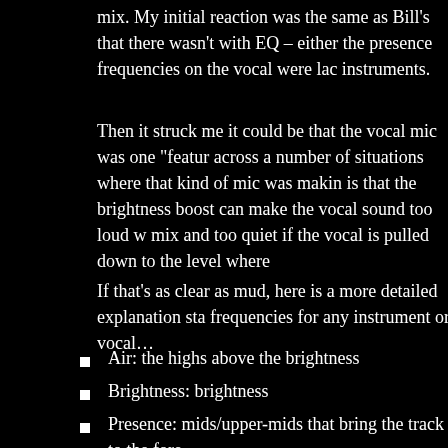mix. My initial reaction was the same as Bill’s that there wasn’t with EQ – either the presence frequencies on the vocal were lac instruments.
Then it struck me it could be that the vocal mic was one “featur across a number of situations where that kind of mic was makin is that the brightness boost can make the vocal sound too loud w mix and too quiet if the vocal is pulled down to the level where
If that’s as clear as mud, here is a more detailed explanation sta frequencies for any instrument or vocal…
Air: the highs above the brightness
Brightness: brightness
Presence: mids/upper-mids that bring the track to the fore
Body: 2nd harmonics.
Warmth/mud: The fundamental frequencies.
Sub-bass: Body noises, impact/pluck thumps, etc.